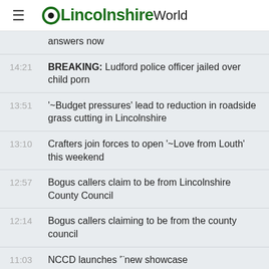LincolnshireWorld
answers now
14:21 BREAKING: Ludford police officer jailed over child porn
13:51 '~Budget pressures' lead to reduction in roadside grass cutting in Lincolnshire
13:10 Crafters join forces to open '~Love from Louth' this weekend
12:57 Bogus callers claim to be from Lincolnshire County Council
12:14 Bogus callers claiming to be from the county council
11:03 NCCD launches '¨new showcase
10:49 PICTURE GALLERY: Flooding across the borough